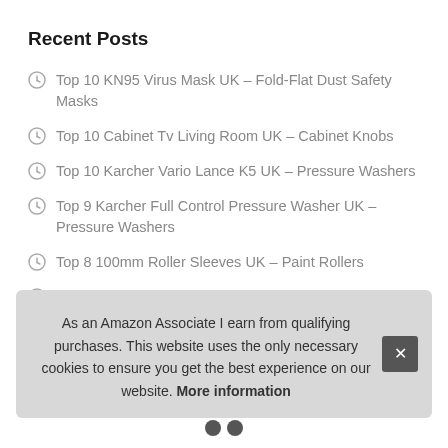Recent Posts
Top 10 KN95 Virus Mask UK – Fold-Flat Dust Safety Masks
Top 10 Cabinet Tv Living Room UK – Cabinet Knobs
Top 10 Karcher Vario Lance K5 UK – Pressure Washers
Top 9 Karcher Full Control Pressure Washer UK – Pressure Washers
Top 8 100mm Roller Sleeves UK – Paint Rollers
Top 10 cake Equipment Tools UK – Drill Bit Sets
Top 9 Hotels Board Game UK – Bells
As an Amazon Associate I earn from qualifying purchases. This website uses the only necessary cookies to ensure you get the best experience on our website. More information